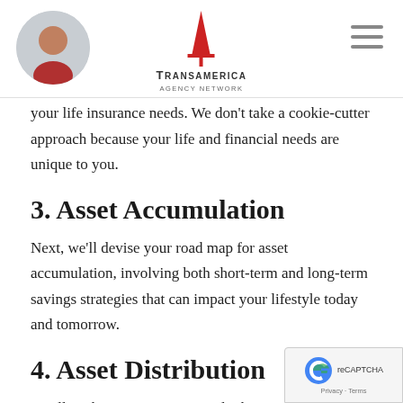Transamerica Agency Network
your life insurance needs. We don’t take a cookie-cutter approach because your life and financial needs are unique to you.
3. Asset Accumulation
Next, we’ll devise your road map for asset accumulation, involving both short-term and long-term savings strategies that can impact your lifestyle today and tomorrow.
4. Asset Distribution
Finally, when it’s time to consider how your assets will be distributed, we can point you to some tools that will h…